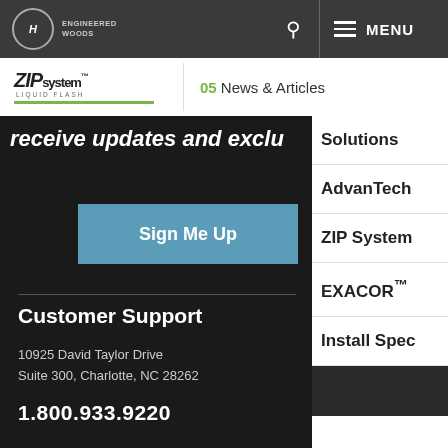HUBER ENGINEERED WOODS — MENU
[Figure (logo): ZIP System Liquid Flash logo with green underline]
05 News & Articles
receive updates and exclu
Sign Me Up
Customer Support
10925 David Taylor Drive
Suite 300, Charlotte, NC 28262
1.800.933.9220
Solutions
AdvanTech
ZIP System
EXACOR™
Install Spec